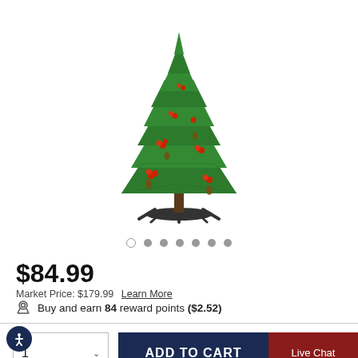[Figure (photo): Artificial green Christmas tree with red berries and pine cones on a dark metal stand, photographed against a white background. The tree is full and tapered, shown from mid-section to base.]
○ • • • • • •
$84.99
Market Price: $179.99  Learn More
Buy and earn 84 reward points ($2.52)
1 ∨  ADD TO CART  Live Chat